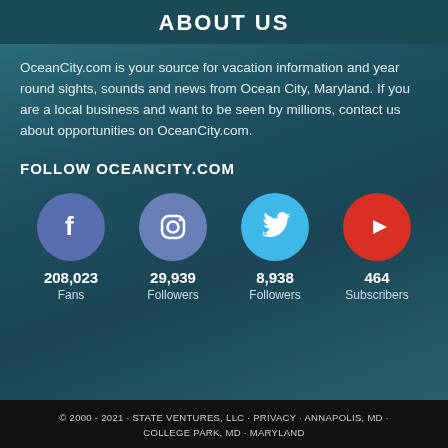ABOUT US
OceanCity.com is your source for vacation information and year round sights, sounds and news from Ocean City, Maryland. If you are a local business and want to be seen by millions, contact us about opportunities on OceanCity.com.
FOLLOW OCEANCITY.COM
[Figure (infographic): Four social media icons (Facebook, Instagram, Twitter, YouTube) with follower/subscriber counts: Facebook 208,023 Fans; Instagram 29,939 Followers; Twitter 8,938 Followers; YouTube 464 Subscribers]
© 2000 - 2021 · STATE VENTURES, LLC · PRIVACY · ANNAPOLIS, MD · COLLEGE PARK, MD · MARYLAND